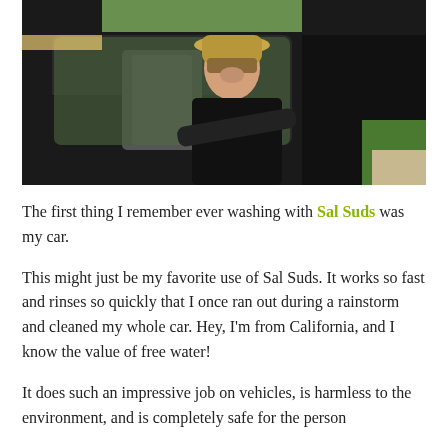[Figure (photo): A smiling woman wearing a tan hat sitting in the driver's seat of a black car with the door open, leaning out and resting her arm on the door frame. Green grass and a building are visible in the background.]
The first thing I remember ever washing with Sal Suds was my car.
This might just be my favorite use of Sal Suds. It works so fast and rinses so quickly that I once ran out during a rainstorm and cleaned my whole car. Hey, I'm from California, and I know the value of free water!
It does such an impressive job on vehicles, is harmless to the environment, and is completely safe for the person